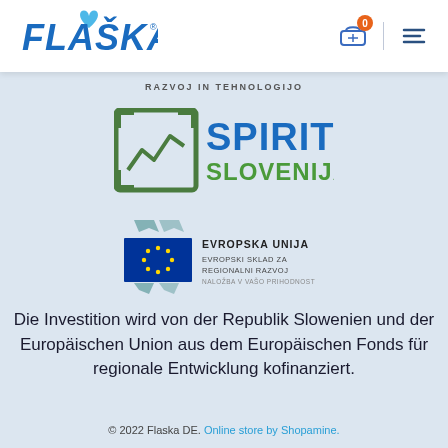FLAŠKA (logo) — navigation header with cart icon (0) and menu
RAZVOJ IN TEHNOLOGIJO
[Figure (logo): SPIRIT SLOVENIJA logo — green square with mountain/chart graphic and teal text]
[Figure (logo): Evropska Unija / Evropski Sklad za Regionalni Razvoj / Naložba v Vašo Prihodnost logo with EU stars flag]
Die Investition wird von der Republik Slowenien und der Europäischen Union aus dem Europäischen Fonds für regionale Entwicklung kofinanziert.
© 2022 Flaska DE. Online store by Shopamine.